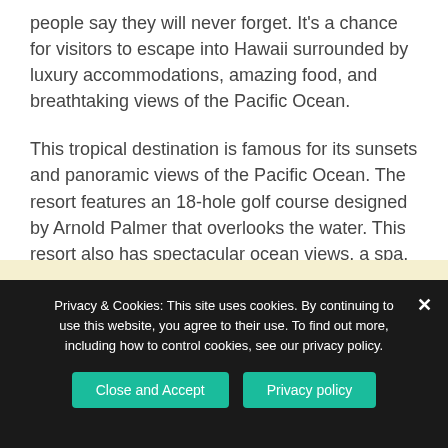people say they will never forget. It's a chance for visitors to escape into Hawaii surrounded by luxury accommodations, amazing food, and breathtaking views of the Pacific Ocean.
This tropical destination is famous for its sunsets and panoramic views of the Pacific Ocean. The resort features an 18-hole golf course designed by Arnold Palmer that overlooks the water. This resort also has spectacular ocean views, a spa, and a lot of activities to keep active guests entertained.
Privacy & Cookies: This site uses cookies. By continuing to use this website, you agree to their use. To find out more, including how to control cookies, see our privacy policy.